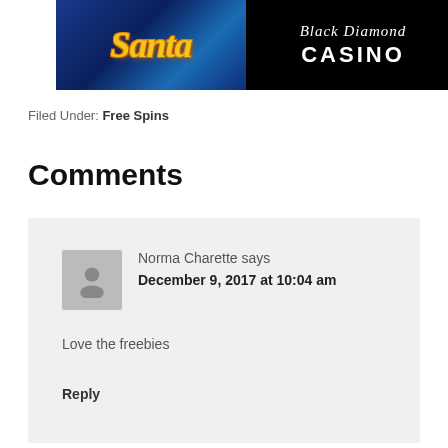[Figure (screenshot): Banner image showing 'Santa' slot game logo on a blue background (left) and 'Black Diamond CASINO' text on black background (right)]
Filed Under: Free Spins
Comments
Norma Charette says
December 9, 2017 at 10:04 am

Love the freebies

Reply